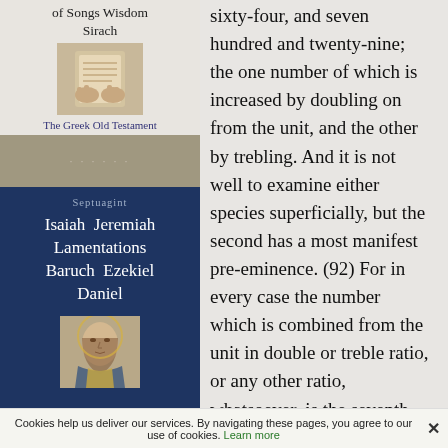[Figure (illustration): Book cover: Song of Songs Wisdom Sirach - The Greek Old Testament, with image of hands]
[Figure (illustration): Book cover: Septuagint - Isaiah Jeremiah Lamentations Baruch Ezekiel Daniel, dark blue cover with religious figure image]
sixty-four, and seven hundred and twenty-nine; the one number of which is increased by doubling on from the unit, and the other by trebling. And it is not well to examine either species superficially, but the second has a most manifest pre-eminence. (92) For in every case the number which is combined from the unit in double or treble ratio, or any other ratio, whatsoever, is the seventh number, a cube and a square, embracing both species,
Cookies help us deliver our services. By navigating these pages, you agree to our use of cookies. Learn more